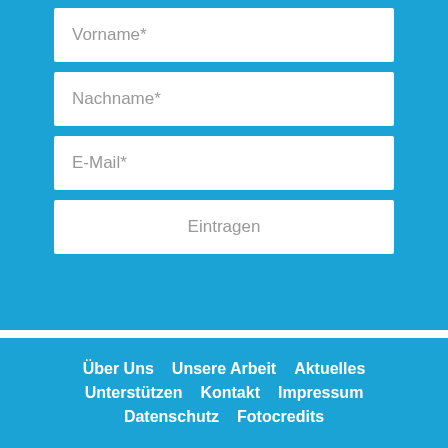[Figure (screenshot): Web form on blue background with input fields for Vorname, Nachname, E-Mail, and a submit button labeled Eintragen]
Über Uns   Unsere Arbeit   Aktuelles
Unterstützen   Kontakt   Impressum
Datenschutz   Fotocredits